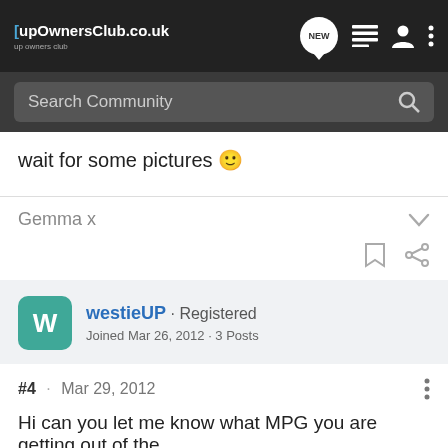upOwnersClub.co.uk
Search Community
wait for some pictures 🙂
Gemma x
westieUP · Registered
Joined Mar 26, 2012 · 3 Posts
#4 · Mar 29, 2012
Hi can you let me know what MPG you are getting out of the